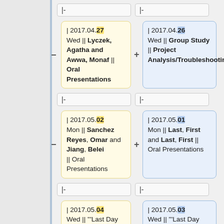|-
|-
| 2017.04.27 Wed || Lyczek, Agatha and Awwa, Monaf || Oral Presentations
| 2017.04.26 Wed || Group Study || Project Analysis/Troubleshooting
|-
|-
| 2017.05.02 Mon || Sanchez Reyes, Omar and Jiang, Belei || Oral Presentations
| 2017.05.01 Mon || Last, First and Last, First || Oral Presentations
|-
|-
| 2017.05.04 Wed || '''Last Day Class'''<br> She, Yaping and Guo, Haoyue || Oral Presentations
| 2017.05.03 Wed || '''Last Day Class'''<br> Last, First and Last, First || Oral Presentations